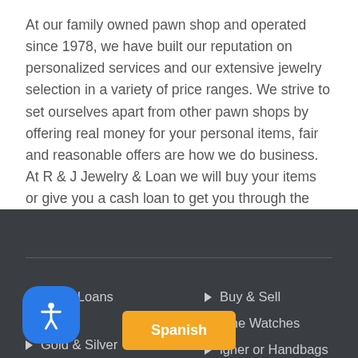At our family owned pawn shop and operated since 1978, we have built our reputation on personalized services and our extensive jewelry selection in a variety of price ranges. We strive to set ourselves apart from other pawn shops by offering real money for your personal items, fair and reasonable offers are how we do business. At R & J Jewelry & Loan we will buy your items or give you a cash loan to get you through the rough times.
Pawn Loans
Buy & Sell
Fine Watches
Gold & Silver
Designer Handbags